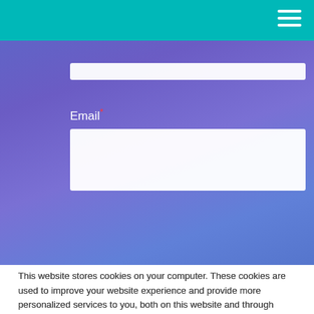[Figure (screenshot): Website form with teal header navigation bar and hamburger menu icon. Blue/purple gradient hero background with a white input field at top and Email label with asterisk and white input field below.]
Email*
This website stores cookies on your computer. These cookies are used to improve your website experience and provide more personalized services to you, both on this website and through other media. To find out more about the cookies we use, see our Privacy Policy.

We won't track your information when you visit our site. But in order to comply with your preferences, we'll have to use just one tiny cookie so that you're not asked to make this choice again.
Accept
Decline